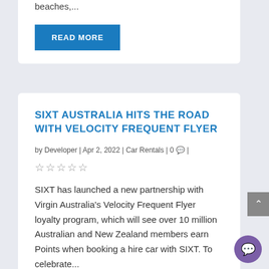beaches,...
READ MORE
SIXT AUSTRALIA HITS THE ROAD WITH VELOCITY FREQUENT FLYER
by Developer | Apr 2, 2022 | Car Rentals | 0 |
★★★★★
SIXT has launched a new partnership with Virgin Australia's Velocity Frequent Flyer loyalty program, which will see over 10 million Australian and New Zealand members earn Points when booking a hire car with SIXT. To celebrate...
READ MORE